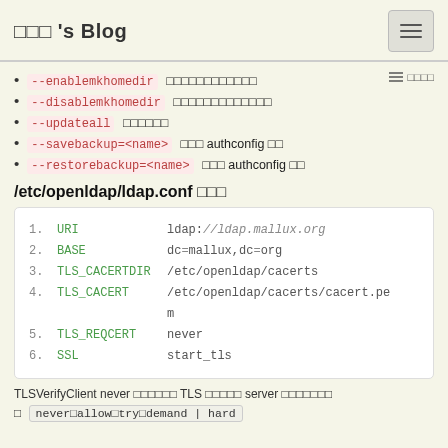□□□ 's Blog
--enablemkhomedir □□□□□□□□□□□□
--disablemkhomedir □□□□□□□□□□□□□
--updateall □□□□□□
--savebackup=<name> □□□ authconfig □□
--restorebackup=<name> □□□ authconfig □□
/etc/openldap/ldap.conf □□□
[Figure (screenshot): Code block showing /etc/openldap/ldap.conf config file contents with fields: URI ldap://ldap.mallux.org, BASE dc=mallux,dc=org, TLS_CACERTDIR /etc/openldap/cacerts, TLS_CACERT /etc/openldap/cacerts/cacert.pem, TLS_REQCERT never, SSL start_tls]
TLSVerifyClient never □□□□□□ TLS □□□□□ server □□□□□□□
□ never□allow□try□demand | hard